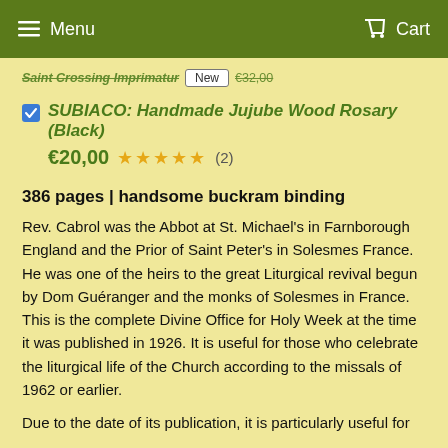Menu   Cart
[partial product link row with strikethrough text, New button, and price]
SUBIACO: Handmade Jujube Wood Rosary (Black)
€20,00 ★★★★★ (2)
386 pages | handsome buckram binding
Rev. Cabrol was the Abbot at St. Michael's in Farnborough England and the Prior of Saint Peter's in Solesmes France. He was one of the heirs to the great Liturgical revival begun by Dom Guéranger and the monks of Solesmes in France. This is the complete Divine Office for Holy Week at the time it was published in 1926. It is useful for those who celebrate the liturgical life of the Church according to the missals of 1962 or earlier.
Due to the date of its publication, it is particularly useful for